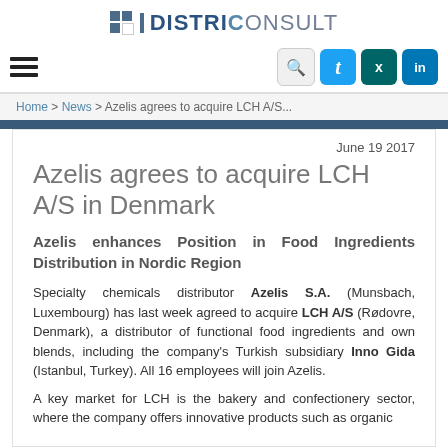[Figure (logo): DistriConsult logo with blue square icon and text]
Home > News > Azelis agrees to acquire LCH A/S...
June 19 2017
Azelis agrees to acquire LCH A/S in Denmark
Azelis enhances Position in Food Ingredients Distribution in Nordic Region
Specialty chemicals distributor Azelis S.A. (Munsbach, Luxembourg) has last week agreed to acquire LCH A/S (Rødovre, Denmark), a distributor of functional food ingredients and own blends, including the company's Turkish subsidiary Inno Gida (Istanbul, Turkey). All 16 employees will join Azelis.
A key market for LCH is the bakery and confectionery sector, where the company offers innovative products such as organic...